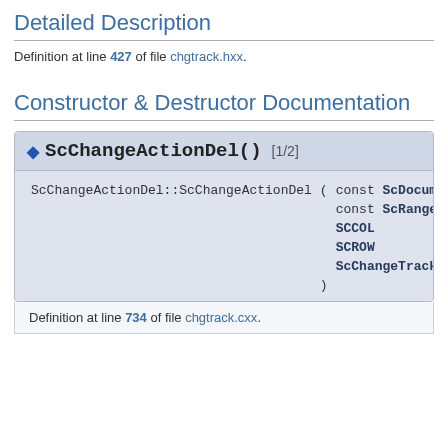Detailed Description
Definition at line 427 of file chgtrack.hxx.
Constructor & Destructor Documentation
◆ ScChangeActionDel() [1/2]
ScChangeActionDel::ScChangeActionDel ( const ScDocument * pD, const ScRange & rR, SCCOL nD, SCROW nD, ScChangeTrack * pT )
Definition at line 734 of file chgtrack.cxx.